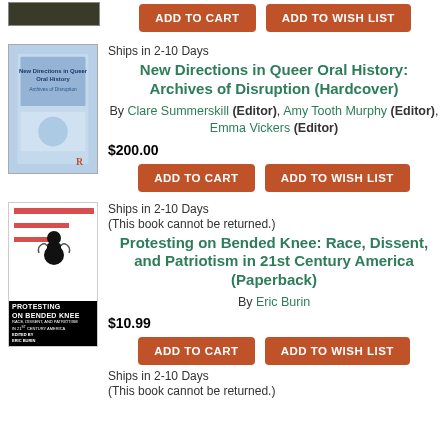[Figure (illustration): Partial book cover visible at top, dark background]
ADD TO CART | ADD TO WISH LIST
Ships in 2-10 Days
New Directions in Queer Oral History: Archives of Disruption (Hardcover)
By Clare Summerskill (Editor), Amy Tooth Murphy (Editor), Emma Vickers (Editor)
$200.00
ADD TO CART | ADD TO WISH LIST
Ships in 2-10 Days
(This book cannot be returned.)
Protesting on Bended Knee: Race, Dissent, and Patriotism in 21st Century America (Paperback)
By Eric Burin
$10.99
ADD TO CART | ADD TO WISH LIST
Ships in 2-10 Days
(This book cannot be returned.)